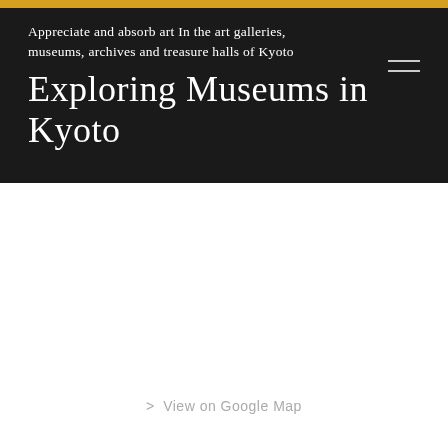Appreciate and absorb art In the art galleries, museums, archives and treasure halls of Kyoto
Exploring Museums in Kyoto
> View on Google Map